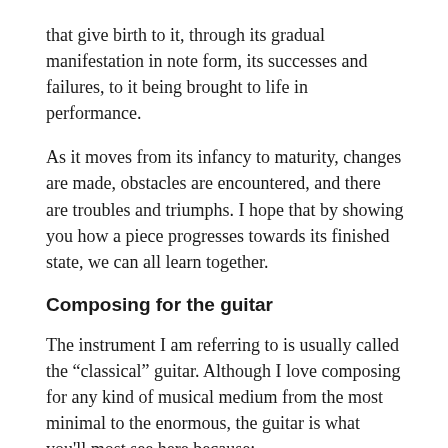that give birth to it, through its gradual manifestation in note form, its successes and failures, to it being brought to life in performance.
As it moves from its infancy to maturity, changes are made, obstacles are encountered, and there are troubles and triumphs. I hope that by showing you how a piece progresses towards its finished state, we can all learn together.
Composing for the guitar
The instrument I am referring to is usually called the “classical” guitar. Although I love composing for any kind of musical medium from the most minimal to the enormous, the guitar is what you'll most see here because: